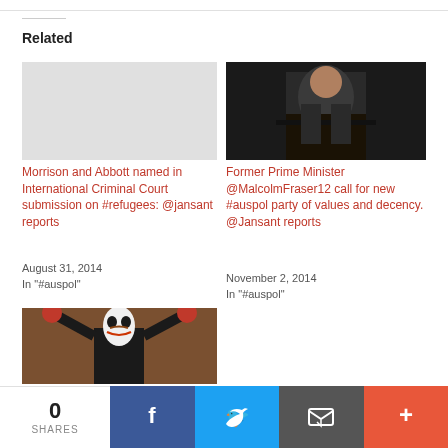Related
[Figure (photo): Blank/placeholder image for Morrison and Abbott article]
Morrison and Abbott named in International Criminal Court submission on #refugees: @jansant reports
August 31, 2014
In "#auspol"
[Figure (photo): Photo of a man speaking at a podium/lectern in a dark setting, wearing a suit]
Former Prime Minister @MalcolmFraser12 call for new #auspol party of values and decency. @Jansant reports
November 2, 2014
In "#auspol"
[Figure (photo): Person in a Guy Fawkes mask with raised arms, red-stained hands, in a building interior]